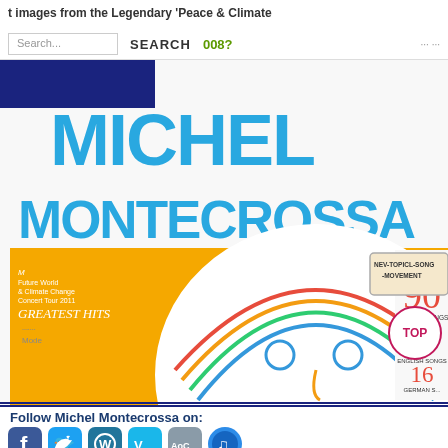images from the Legendary 'Peace & Climate'   SEARCH 008?
[Figure (photo): Michel Montecrossa album cover with large blue text 'MICHEL MONTECROSSA', showing a cartoon sun face on yellow/orange background with text 'Future World & Climate Change Concert Tour 2011 Greatest Hits', '90 Topical Songs Including 73 English Songs 16 German Songs', 'New-Topical-Song-Movement']
Follow Michel Montecrossa on:
[Figure (logo): Social media icons: Facebook, Twitter, WordPress, Vimeo, ABC/DC, iTunes]